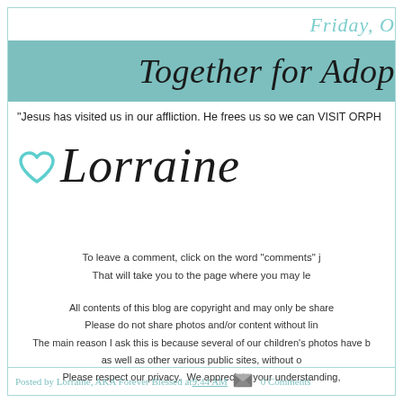Friday, O
Together for Adop
"Jesus has visited us in our affliction. He frees us so we can VISIT ORPH
[Figure (illustration): Teal heart SVG icon followed by script font signature 'Lorraine']
To leave a comment, click on the word "comments" j
That will take you to the page where you may le
All contents of this blog are copyright and may only be share
Please do not share photos and/or content without lin
The main reason I ask this is because several of our children's photos have b
as well as other various public sites, without o
Please respect our privacy.  We appreciate your understanding,
Posted by Lorraine, AKA Forever Blessed at 9:44 AM   0 Comments